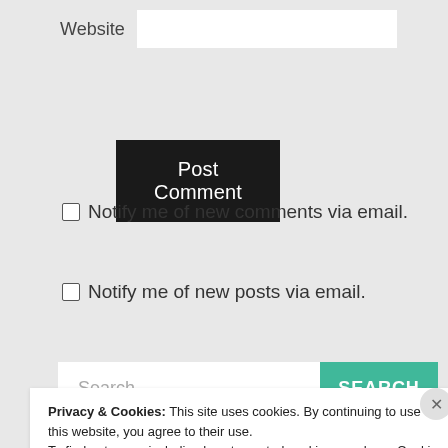Website
Post Comment
Notify me of new comments via email.
Notify me of new posts via email.
Search ...
SEARCH
Privacy & Cookies: This site uses cookies. By continuing to use this website, you agree to their use.
To find out more, including how to control cookies, see here: Cookie Policy
Close and accept